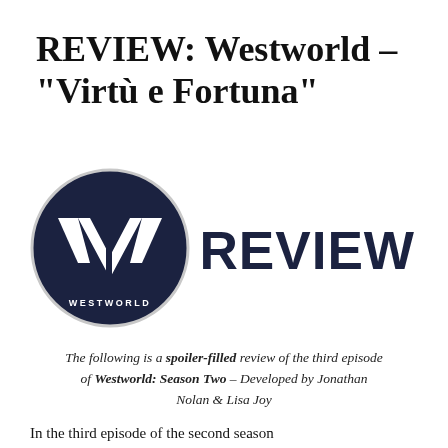REVIEW: Westworld – “Virtù e Fortuna”
[Figure (logo): Westworld circular logo (dark navy circle with stylized W/V mark and WESTWORLD text) beside large dark navy REVIEW text]
The following is a spoiler-filled review of the third episode of Westworld: Season Two – Developed by Jonathan Nolan & Lisa Joy
In the third episode of the second season